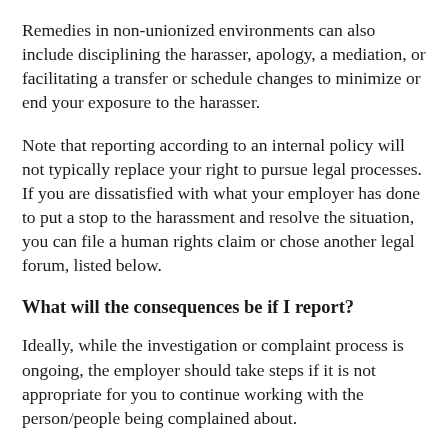Remedies in non-unionized environments can also include disciplining the harasser, apology, a mediation, or facilitating a transfer or schedule changes to minimize or end your exposure to the harasser.
Note that reporting according to an internal policy will not typically replace your right to pursue legal processes. If you are dissatisfied with what your employer has done to put a stop to the harassment and resolve the situation, you can file a human rights claim or chose another legal forum, listed below.
What will the consequences be if I report?
Ideally, while the investigation or complaint process is ongoing, the employer should take steps if it is not appropriate for you to continue working with the person/people being complained about.